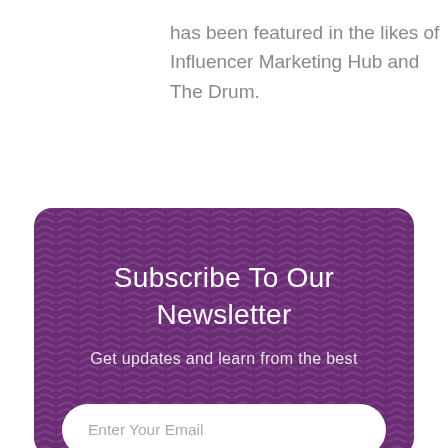has been featured in the likes of Influencer Marketing Hub and The Drum.
[Figure (infographic): Purple newsletter subscription card with chevron/arrow pattern background, containing title 'Subscribe To Our Newsletter', subtitle 'Get updates and learn from the best', and an email input field with placeholder 'Enter Your Email']
Subscribe To Our Newsletter
Get updates and learn from the best
Enter Your Email